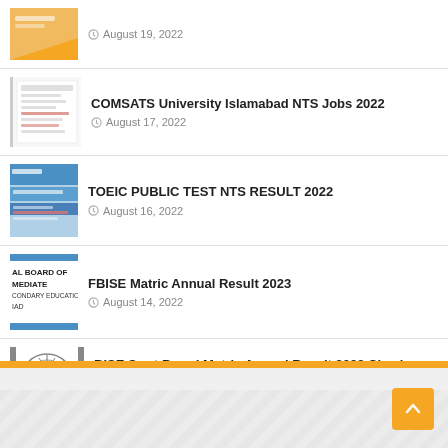August 19, 2022
COMSATS University Islamabad NTS Jobs 2022
August 17, 2022
TOEIC PUBLIC TEST NTS RESULT 2022
August 16, 2022
FBISE Matric Annual Result 2023
August 14, 2022
BISE Swat Board Matric Annual Result 2022 Check Online by Roll Number
August 13, 2022